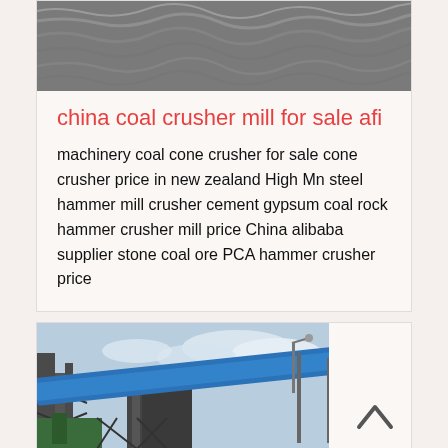[Figure (photo): Aerial or texture photo showing rough dark water surface or similar grey textured material]
china coal crusher mill for sale afi
machinery coal cone crusher for sale cone crusher price in new zealand High Mn steel hammer mill crusher cement gypsum coal rock hammer crusher mill price China alibaba supplier stone coal ore PCA hammer crusher price
[Figure (photo): Industrial facility with blue conveyor belt structure, metal scaffolding, and cloudy sky]